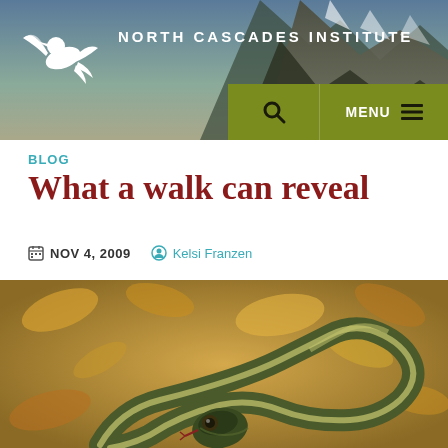[Figure (photo): North Cascades Institute website header with mountain landscape background, white bird logo on left, institute name text, olive green navigation bar with search and menu icons]
BLOG
What a walk can reveal
NOV 4, 2009  Kelsi Franzen
[Figure (photo): Close-up photograph of a garter snake on autumn leaves, snake facing camera with coiled body visible]